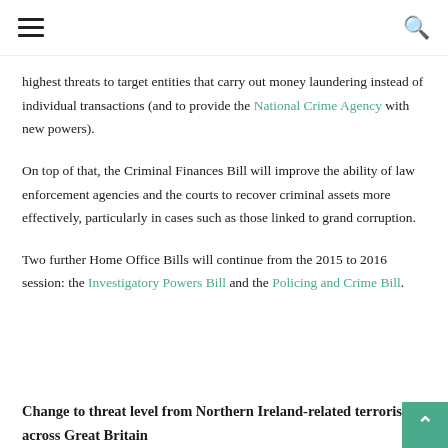≡  🔍
highest threats to target entities that carry out money laundering instead of individual transactions (and to provide the National Crime Agency with new powers).
On top of that, the Criminal Finances Bill will improve the ability of law enforcement agencies and the courts to recover criminal assets more effectively, particularly in cases such as those linked to grand corruption.
Two further Home Office Bills will continue from the 2015 to 2016 session: the Investigatory Powers Bill and the Policing and Crime Bill.
Change to threat level from Northern Ireland-related terrorism across Great Britain